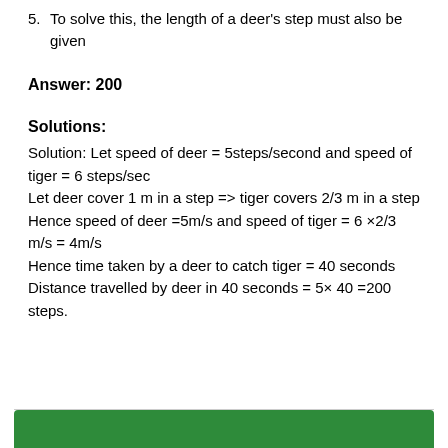5. To solve this, the length of a deer's step must also be given
Answer: 200
Solutions:
Solution: Let speed of deer = 5steps/second and speed of tiger = 6 steps/sec
Let deer cover 1 m in a step => tiger covers 2/3 m in a step
Hence speed of deer =5m/s and speed of tiger = 6 ×2/3 m/s = 4m/s
Hence time taken by a deer to catch tiger = 40 seconds
Distance travelled by deer in 40 seconds = 5× 40 =200 steps.